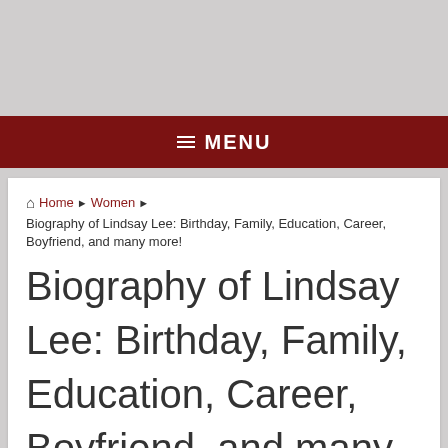☰ MENU
🏠 Home ▶ Women ▶ Biography of Lindsay Lee: Birthday, Family, Education, Career, Boyfriend, and many more!
Biography of Lindsay Lee: Birthday, Family, Education, Career, Boyfriend, and many more!
Women  manish  October 6, 2021  0